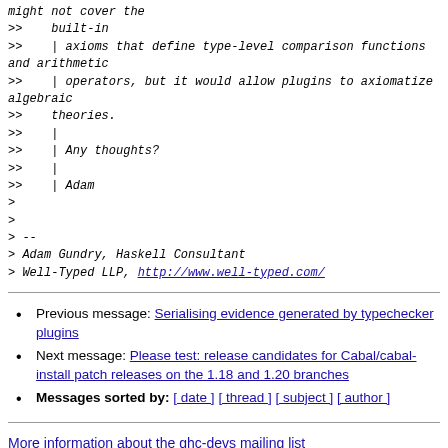might not cover the
>>    built-in
>>    | axioms that define type-level comparison functions and arithmetic
>>    | operators, but it would allow plugins to axiomatize algebraic
>>    theories.
>>    |
>>    | Any thoughts?
>>    |
>>    | Adam
>
>
> --
> Adam Gundry, Haskell Consultant
> Well-Typed LLP, http://www.well-typed.com/
Previous message: Serialising evidence generated by typechecker plugins
Next message: Please test: release candidates for Cabal/cabal-install patch releases on the 1.18 and 1.20 branches
Messages sorted by: [ date ] [ thread ] [ subject ] [ author ]
More information about the ghc-devs mailing list